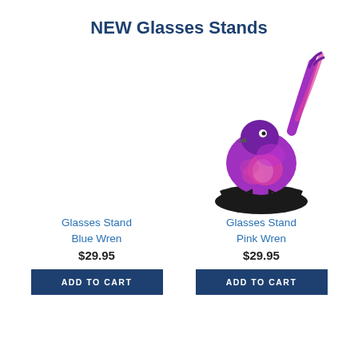NEW Glasses Stands
[Figure (illustration): Purple and pink wren bird figurine glasses stand on a black base — right column product image]
Glasses Stand Blue Wren
$29.95
ADD TO CART
Glasses Stand Pink Wren
$29.95
ADD TO CART